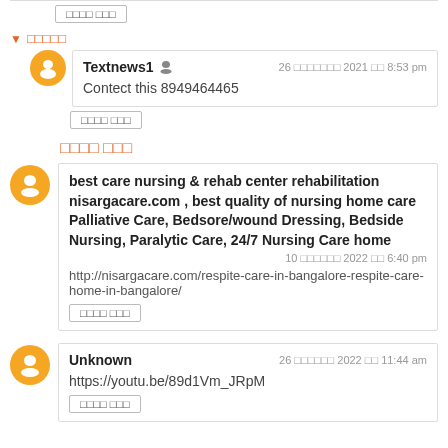□□□□ □□□ (delete button placeholder at top)
▼ □□□□□ (reply toggle label in orange)
Textnews1 — 26 □□□□□□□ 2021 □□ 8:53 pm — Contect this 8949464465
□□□□ □□□ (delete button)
□□□□ □□□
best care nursing & rehab center rehabilitation nisargacare.com , best quality of nursing home care Palliative Care, Bedsore/wound Dressing, Bedside Nursing, Paralytic Care, 24/7 Nursing Care home — 10 □□□□□□ 2022 □□ 6:40 pm — http://nisargacare.com/respite-care-in-bangalore-respite-care-home-in-bangalore/
□□□□ □□□ (delete button)
Unknown — 26 □□□□□□ 2022 □□ 11:44 am — https://youtu.be/89d1Vm_JRpM
□□□□ □□□ (delete button)